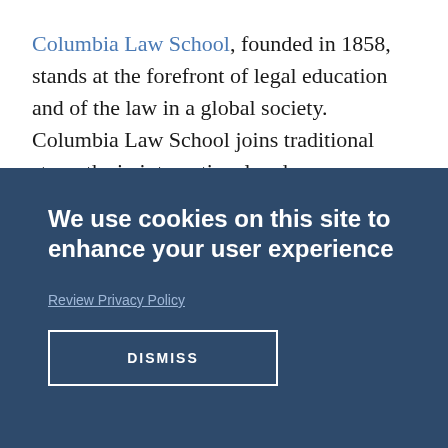Columbia Law School, founded in 1858, stands at the forefront of legal education and of the law in a global society. Columbia Law School joins traditional strengths in international and
We use cookies on this site to enhance your user experience
Review Privacy Policy
DISMISS